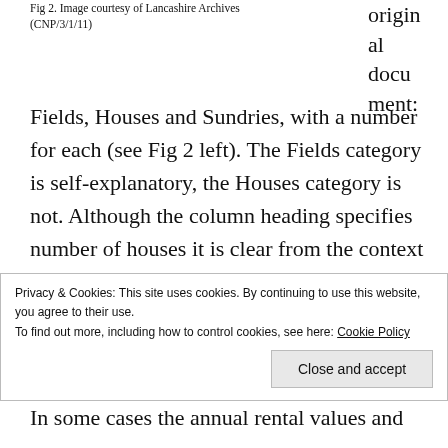Fig 2. Image courtesy of Lancashire Archives (CNP/3/1/11)
original document:
Fields, Houses and Sundries, with a number for each (see Fig 2 left). The Fields category is self-explanatory, the Houses category is not. Although the column heading specifies number of houses it is clear from the context that in some cases the number refers to individual buildings and in others to multiple occupancy of individual buildings. The Sundries column
Privacy & Cookies: This site uses cookies. By continuing to use this website, you agree to their use.
To find out more, including how to control cookies, see here: Cookie Policy
Close and accept
In some cases the annual rental values and